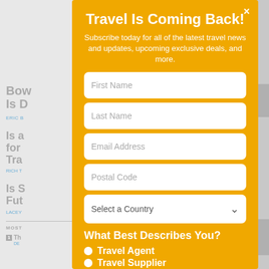[Figure (screenshot): Background website with article headlines and bylines visible behind the modal popup]
Travel Is Coming Back!
Subscribe today for all of the latest travel news and updates, upcoming exclusive deals, and more.
First Name
Last Name
Email Address
Postal Code
Select a Country
What Best Describes You?
Travel Agent
Travel Supplier
Traveler